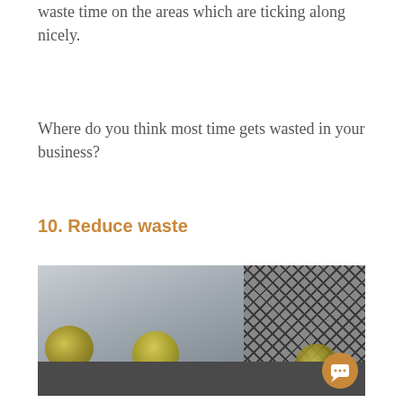waste time on the areas which are ticking along nicely.
Where do you think most time gets wasted in your business?
10. Reduce waste
[Figure (photo): Photo of crumpled yellow paper balls next to a mesh metal waste bin on a dark surface.]